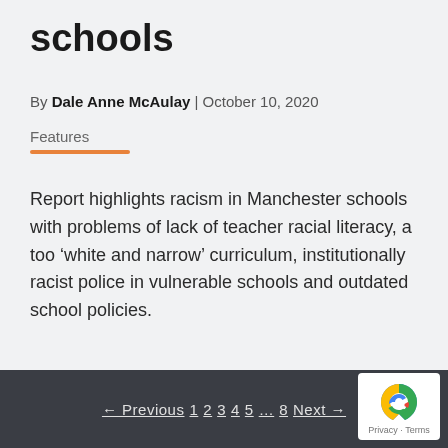schools
By Dale Anne McAulay | October 10, 2020
Features
Report highlights racism in Manchester schools with problems of lack of teacher racial literacy, a too ‘white and narrow’ curriculum, institutionally racist police in vulnerable schools and outdated school policies.
← Previous 1 2 3 4 5 … 8 Next →